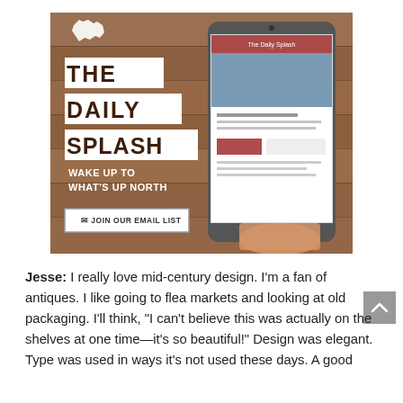[Figure (advertisement): The Daily Splash newsletter advertisement with wood plank background, Michigan state silhouette, phone mockup showing newsletter, text 'THE DAILY SPLASH - WAKE UP TO WHAT'S UP NORTH' and 'JOIN OUR EMAIL LIST' button]
Jesse: I really love mid-century design. I'm a fan of antiques. I like going to flea markets and looking at old packaging. I'll think, "I can't believe this was actually on the shelves at one time—it's so beautiful!" Design was elegant. Type was used in ways it's not used these days. A good